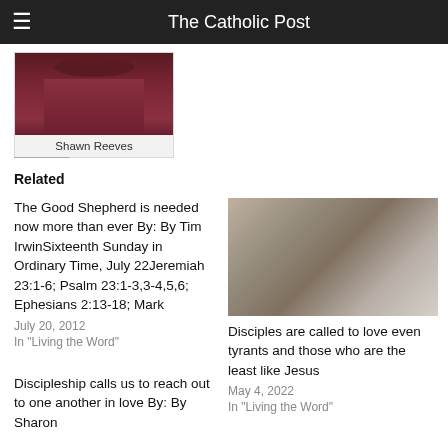The Catholic Post
[Figure (photo): Photo of Shawn Reeves, a person in a dark maroon polo shirt]
Shawn Reeves
Related
The Good Shepherd is needed now more than ever By: By Tim IrwinSixteenth Sunday in Ordinary Time, July 22Jeremiah 23:1-6; Psalm 23:1-3,3-4,5,6; Ephesians 2:13-18; Mark
July 20, 2012
In "Living the Word"
[Figure (photo): Headshot of a middle-aged man wearing glasses and with a mustache, wearing a white shirt]
Disciples are called to love even tyrants and those who are the least like Jesus
May 4, 2022
In "Living the Word"
Discipleship calls us to reach out to one another in love By: By Sharon